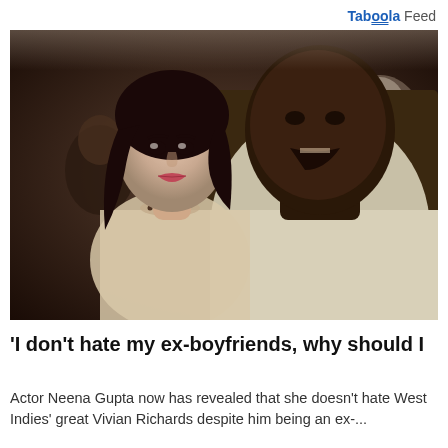Taboola Feed
[Figure (photo): A vintage photograph showing a woman with long dark hair and light skin on the left, and a dark-skinned man in a light-colored shirt on the right, with other people visible in the background.]
'I don't hate my ex-boyfriends, why should I
Actor Neena Gupta now has revealed that she doesn't hate West Indies' great Vivian Richards despite him being an ex-...